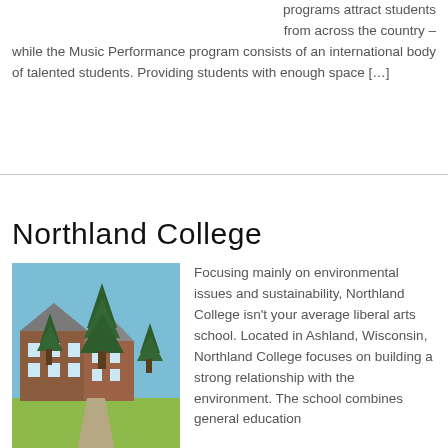programs attract students from across the country – while the Music Performance program consists of an international body of talented students. Providing students with enough space […]
Northland College
[Figure (photo): Photo of Northland College campus building — a red brick building with gabled roofs surrounded by large evergreen trees, with a green lawn in front, under a blue sky.]
Focusing mainly on environmental issues and sustainability, Northland College isn't your average liberal arts school. Located in Ashland, Wisconsin, Northland College focuses on building a strong relationship with the environment. The school combines general education